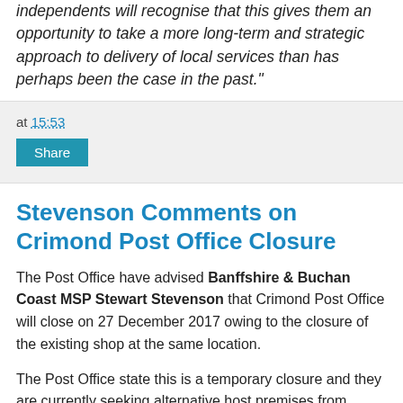independents will recognise that this gives them an opportunity to take a more long-term and strategic approach to delivery of local services than has perhaps been the case in the past."
at 15:53
Share
Stevenson Comments on Crimond Post Office Closure
The Post Office have advised Banffshire & Buchan Coast MSP Stewart Stevenson that Crimond Post Office will close on 27 December 2017 owing to the closure of the existing shop at the same location.
The Post Office state this is a temporary closure and they are currently seeking alternative host premises from which to operate.